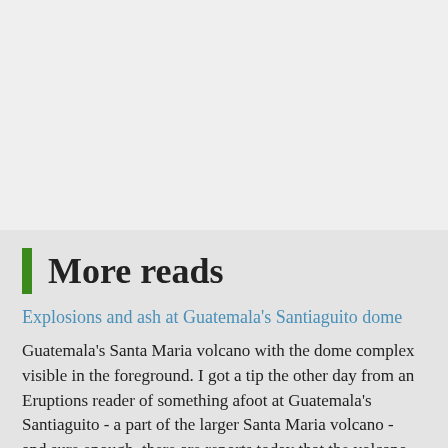[Figure (photo): Light grey rectangular area representing a placeholder image or advertisement at the top portion of the page.]
More reads
Explosions and ash at Guatemala's Santiaguito dome
Guatemala's Santa Maria volcano with the dome complex visible in the foreground. I got a tip the other day from an Eruptions reader of something afoot at Guatemala's Santiaguito - a part of the larger Santa Maria volcano - and sure enough, there are reports today that the volcano is experiencing an "unusual and violent" display. The articles I can find only mention that ash was spread over six